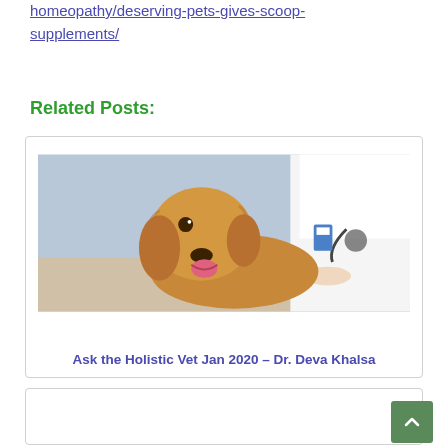homeopathy/deserving-pets-gives-scoop-supplements/
Related Posts:
[Figure (photo): A golden retriever dog sitting on an examination table being examined by a veterinarian in a white lab coat with a stethoscope, in a clinical setting with white bottles in the background.]
Ask the Holistic Vet Jan 2020 – Dr. Deva Khalsa